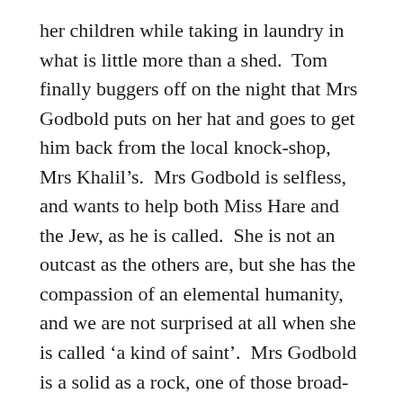her children while taking in laundry in what is little more than a shed.  Tom finally buggers off on the night that Mrs Godbold puts on her hat and goes to get him back from the local knock-shop, Mrs Khalil’s.  Mrs Godbold is selfless, and wants to help both Miss Hare and the Jew, as he is called.  She is not an outcast as the others are, but she has the compassion of an elemental humanity, and we are not surprised at all when she is called ‘a kind of saint’.  Mrs Godbold is a solid as a rock, one of those broad-beamed women who survive, the only one of the four riders to do so.
Alf Dubbo is the half cast product of a grizzly meth-driven tryst on the river bank between a gin and an unknown white.  As a half cast outside any tribe, he is lost to the world – and as the author asks, why should anyone tell him difference to the black bits to the th...